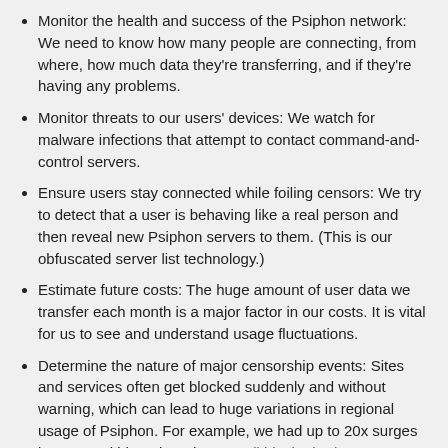Monitor the health and success of the Psiphon network: We need to know how many people are connecting, from where, how much data they're transferring, and if they're having any problems.
Monitor threats to our users' devices: We watch for malware infections that attempt to contact command-and-control servers.
Ensure users stay connected while foiling censors: We try to detect that a user is behaving like a real person and then reveal new Psiphon servers to them. (This is our obfuscated server list technology.)
Estimate future costs: The huge amount of user data we transfer each month is a major factor in our costs. It is vital for us to see and understand usage fluctuations.
Determine the nature of major censorship events: Sites and services often get blocked suddenly and without warning, which can lead to huge variations in regional usage of Psiphon. For example, we had up to 20x surges in usage within a day when Brazil blocked WhatsApp or Turkey blocked social media.
Understand who we need to help: Some sites and services will never get blocked anywhere, some will always be blocked in certain countries, and some will occasionally be blocked.